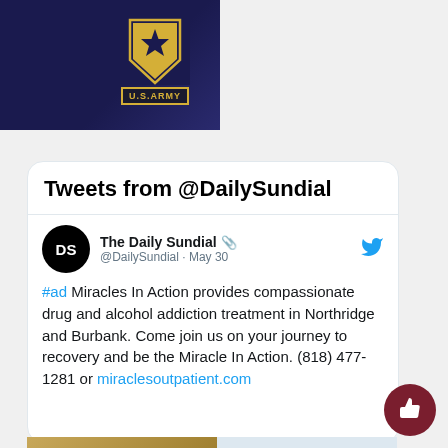[Figure (photo): US Army promotional image with dark navy background showing U.S. Army star logo and 'U.S.ARMY' text badge]
Tweets from @DailySundial
The Daily Sundial 📎 @DailySundial · May 30
#ad Miracles In Action provides compassionate drug and alcohol addiction treatment in Northridge and Burbank. Come join us on your journey to recovery and be the Miracle In Action. (818) 477-1281 or miraclesoutpatient.com
[Figure (screenshot): Bottom portion showing thumbnail images and tweet content partially visible]